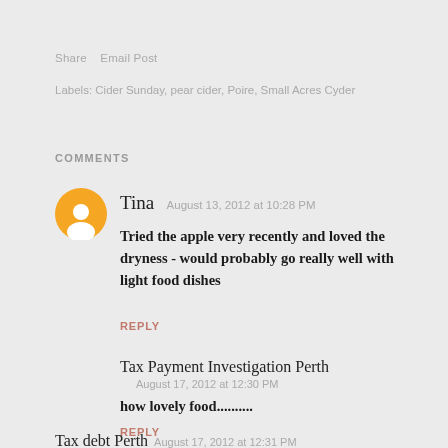Share   Email Post
Labels: Cider Sunday, pear cider, Poire, Small Acres Cyder
COMMENTS
Tina  August 13, 2012 at 10:28 PM
Tried the apple very recently and loved the dryness - would probably go really well with light food dishes
REPLY
Tax Payment Investigation Perth
August 17, 2012 at 12:30 PM
how lovely food..........
REPLY
Tax debt Perth  August 17, 2012 at 12:31 PM